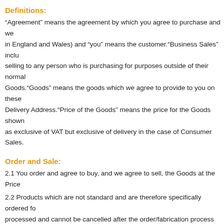Definitions:
“Agreement” means the agreement by which you agree to purchase and we in England and Wales) and “you” means the customer.“Business Sales” inclu selling to any person who is purchasing for purposes outside of their normal Goods.“Goods” means the goods which we agree to provide to you on these Delivery Address.“Price of the Goods” means the price for the Goods shown as exclusive of VAT but exclusive of delivery in the case of Consumer Sales.
Order and Sale:
2.1 You order and agree to buy, and we agree to sell, the Goods at the Price
2.2 Products which are not standard and are therefore specifically ordered fo processed and cannot be cancelled after the order/fabrication process has s
Applicable terms, conditions and representations:
3.1 These terms are the express terms and conditions governing the Agreem
3.2 There cannot be a variation or change to anything in this Agreement unle
3.3 It is your responsibility to check that all the details relating to your order a